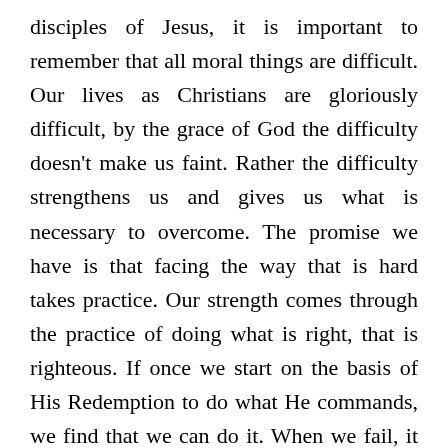disciples of Jesus, it is important to remember that all moral things are difficult. Our lives as Christians are gloriously difficult, by the grace of God the difficulty doesn't make us faint. Rather the difficulty strengthens us and gives us what is necessary to overcome. The promise we have is that facing the way that is hard takes practice. Our strength comes through the practice of doing what is right, that is righteous. If once we start on the basis of His Redemption to do what He commands, we find that we can do it. When we fail, it is because we have not practiced. Oswald Chambers said about this;